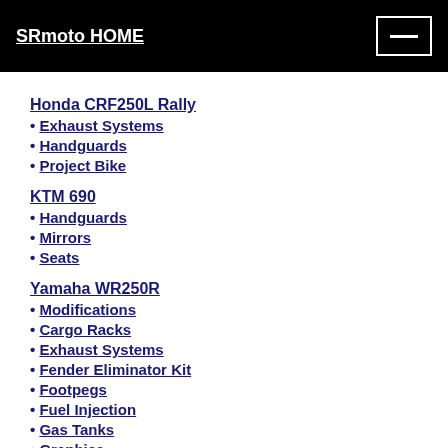SRmoto HOME
Honda CRF250L Rally
Exhaust Systems
Handguards
Project Bike
KTM 690
Handguards
Mirrors
Seats
Yamaha WR250R
Modifications
Cargo Racks
Exhaust Systems
Fender Eliminator Kit
Footpegs
Fuel Injection
Gas Tanks
Graphics
Hand Guards